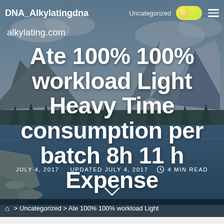DNA_Alkylatingdna  Uncategorized  [toggle] [menu]
alkylating.com
Ate 100% 100% workload Light Heavy Time consumption per batch 8h 11 h Expense
JULY 4, 2017   UPDATED JULY 4, 2017   4 MIN READ
> Uncategorized > Ate 100% 100% workload Light